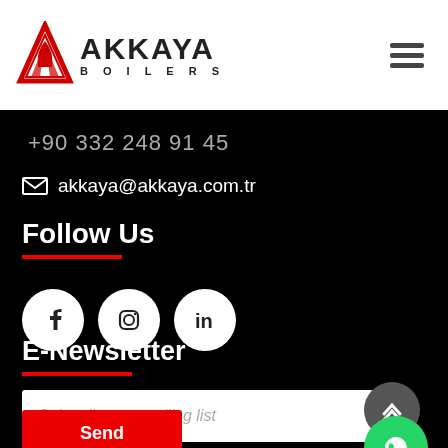[Figure (logo): Akkaya Boilers logo with red triangular flame icon and bold text AKKAYA BOILERS]
+90 332 248 91 45
akkaya@akkaya.com.tr
Follow Us
[Figure (infographic): Three white circular social media icons: Facebook, Instagram, LinkedIn]
E-Newsletter
Subscribe our mailing list
Send